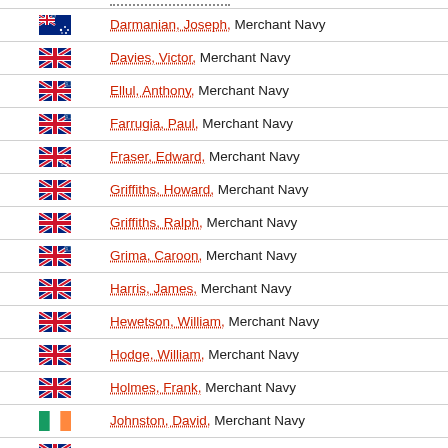Darmanian, Joseph, Merchant Navy
Davies, Victor, Merchant Navy
Ellul, Anthony, Merchant Navy
Farrugia, Paul, Merchant Navy
Fraser, Edward, Merchant Navy
Griffiths, Howard, Merchant Navy
Griffiths, Ralph, Merchant Navy
Grima, Caroon, Merchant Navy
Harris, James, Merchant Navy
Hewetson, William, Merchant Navy
Hodge, William, Merchant Navy
Holmes, Frank, Merchant Navy
Johnston, David, Merchant Navy
Lewis, Evan, Merchant Navy
McLellan, John, Merchant Navy
Mifsud, Salvatore, Merchant Navy
Palmer, Wilfred, Merchant Navy